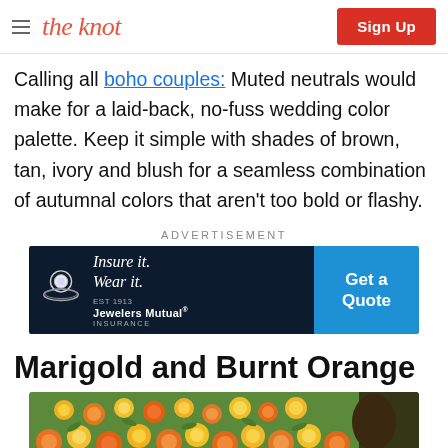the knot | Sign Up
Calling all boho couples: Muted neutrals would make for a laid-back, no-fuss wedding color palette. Keep it simple with shades of brown, tan, ivory and blush for a seamless combination of autumnal colors that aren't too bold or flashy.
[Figure (other): Jewelers Mutual advertisement banner: 'Insure it. Wear it.' with ring graphic, Jewelers Mutual Insurance logo, and 'Get a Quote' button in blue.]
Marigold and Burnt Orange
[Figure (photo): Photo of orange and yellow marigold flowers with a person wearing a hat partially visible on the right side.]